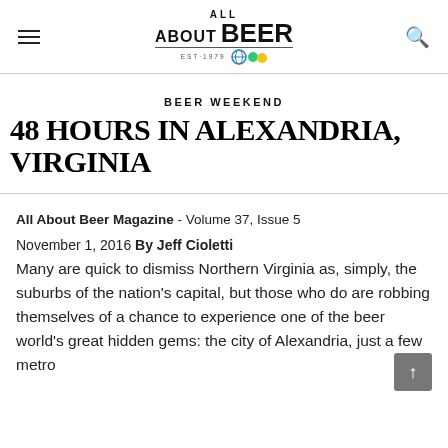ALL ABOUT BEER Magazine logo header with hamburger menu and search icon
BEER WEEKEND
48 HOURS IN ALEXANDRIA, VIRGINIA
All About Beer Magazine - Volume 37, Issue 5
November 1, 2016 By Jeff Cioletti
Many are quick to dismiss Northern Virginia as, simply, the suburbs of the nation's capital, but those who do are robbing themselves of a chance to experience one of the beer world's great hidden gems: the city of Alexandria, just a few metro